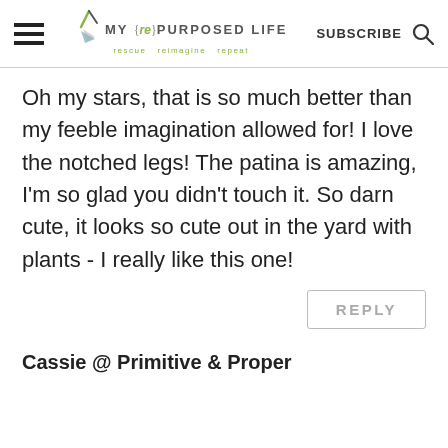MY {re} PURPOSED LIFE — rescue reimagine repeat | SUBSCRIBE
Oh my stars, that is so much better than my feeble imagination allowed for! I love the notched legs! The patina is amazing, I'm so glad you didn't touch it. So darn cute, it looks so cute out in the yard with plants - I really like this one!
REPLY
Cassie @ Primitive & Proper